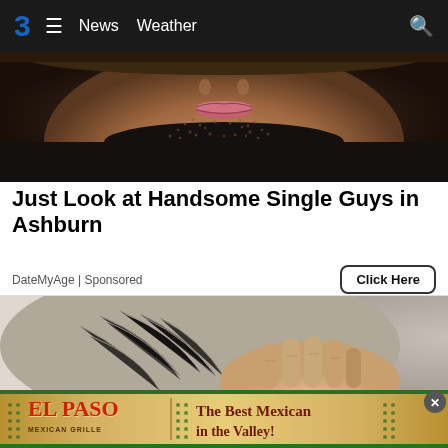3  ≡  News  Weather  🔍
[Figure (photo): Close-up photo of a man's lower face showing stubble beard and lips against a dark background]
Just Look at Handsome Single Guys in Ashburn
DateMyAge | Sponsored
Click Here
[Figure (photo): Photo of a person with grey curly hair with hands pressed against/behind their head]
[Figure (infographic): El Paso Mexican Grille advertisement banner — The Best Mexican in the Valley!]